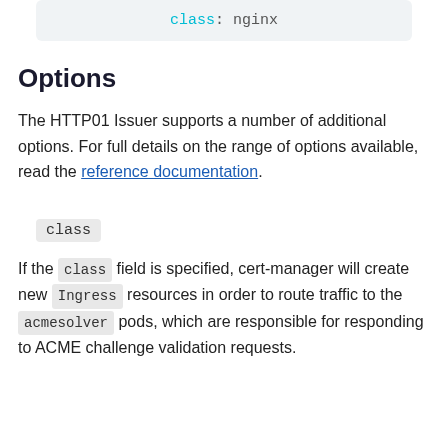class: nginx
Options
The HTTP01 Issuer supports a number of additional options. For full details on the range of options available, read the reference documentation.
class
If the class field is specified, cert-manager will create new Ingress resources in order to route traffic to the acmesolver pods, which are responsible for responding to ACME challenge validation requests.